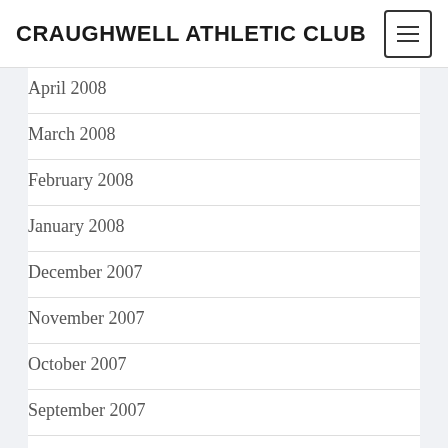CRAUGHWELL ATHLETIC CLUB
April 2008
March 2008
February 2008
January 2008
December 2007
November 2007
October 2007
September 2007
August 2007
July 2007
June 2007